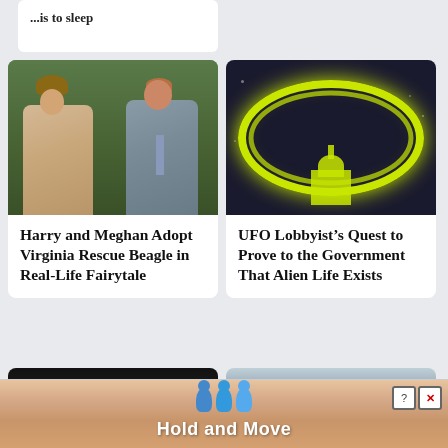[Figure (photo): Partial top card with truncated headline text visible]
[Figure (photo): Photo of Prince Harry and Meghan Markle walking together outdoors in winter attire]
Harry and Meghan Adopt Virginia Rescue Beagle in Real-Life Fairytale
[Figure (photo): Dark image showing a glowing yellow-green ellipse/circle around an illuminated US Capitol building dome]
UFO Lobbyist’s Quest to Prove to the Government That Alien Life Exists
[Figure (photo): Partial dark bottom-left card, appears to show a dark close-up photo]
[Figure (photo): Partial bottom-right card showing an outdoor scene]
[Figure (infographic): Advertisement banner reading 'Hold and Move' with blue human figures icons and close/help buttons]